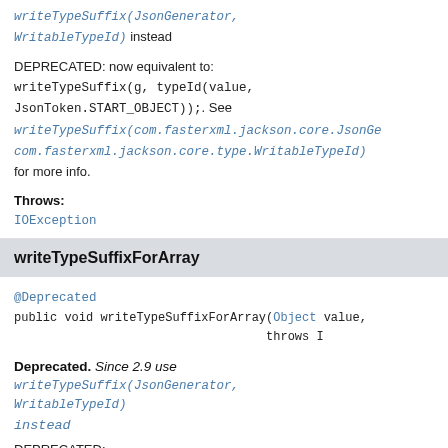writeTypeSuffix(JsonGenerator, WritableTypeId) instead
DEPRECATED: now equivalent to: writeTypeSuffix(g, typeId(value, JsonToken.START_OBJECT));. See writeTypeSuffix(com.fasterxml.jackson.core.JsonGenerator, com.fasterxml.jackson.core.type.WritableTypeId) for more info.
Throws:
IOException
writeTypeSuffixForArray
@Deprecated
public void writeTypeSuffixForArray(Object value,
                                   throws I
Deprecated. Since 2.9 use writeTypeSuffix(JsonGenerator, WritableTypeId) instead
DEPRECATED